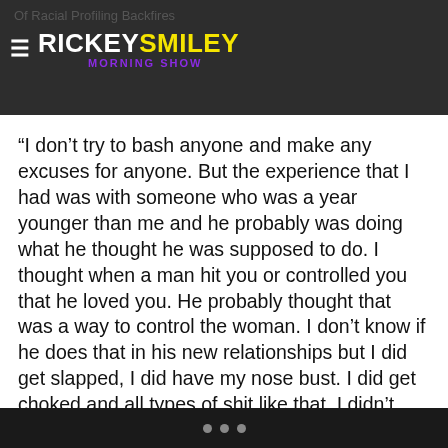Of Racial Profiling Backfires — RICKEY SMILEY MORNING SHOW
“I don’t try to bash anyone and make any excuses for anyone. But the experience that I had was with someone who was a year younger than me and he probably was doing what he thought he was supposed to do. I thought when a man hit you or controlled you that he loved you. He probably thought that was a way to control the woman. I don’t know if he does that in his new relationships but I did get slapped, I did have my nose bust. I did get choked and all types of shit like that. I didn’t realize that was domestic violence until I got older. Like, ‘Oh, he slapped me b*tch but it wasn’t that serious.’ And as I got older—because I come from Baltimore, sh*t like this happens. Not saying that every woman from Baltimore accepts that type of sh*t. But we come from a rough city and a rough upbringing.
• • •